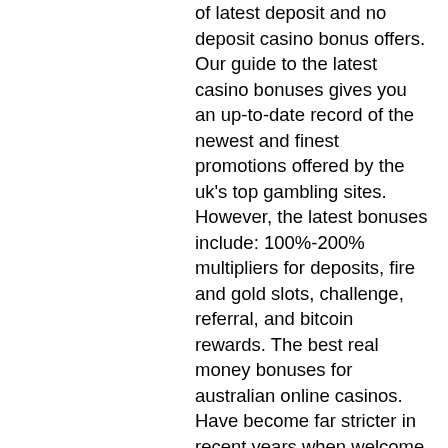of latest deposit and no deposit casino bonus offers. Our guide to the latest casino bonuses gives you an up-to-date record of the newest and finest promotions offered by the uk's top gambling sites. However, the latest bonuses include: 100%-200% multipliers for deposits, fire and gold slots, challenge, referral, and bitcoin rewards. The best real money bonuses for australian online casinos. Have become far stricter in recent years when welcome bonuses first became available. Trusted award winning source for online casinos since 2006 with 1016 exclusive bonuses, the largest casino forum, no deposits and much more. Get the latest casino bonuses from trusted online gambling sites. The great thing about bonus deals is that you get value for your money by increasing your. Learn how to claim best online casino bonuses, study bonus types, their terms and conditions. Sign-up in our trusted casinos and get them now. Last